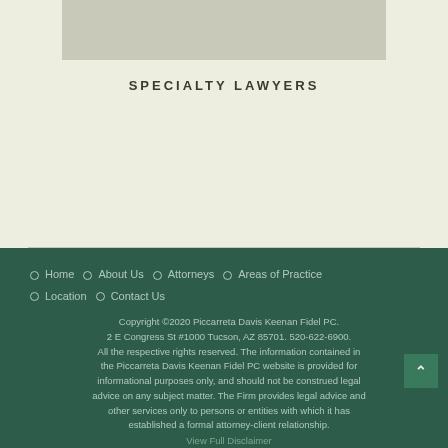[Figure (photo): Gray image placeholder rectangle at top center of page]
SPECIALTY LAWYERS
Home ◦ About Us ◦ Attorneys ◦ Areas of Practice ◦ Location ◦ Contact Us
Copyright ©2020 Piccarreta Davis Keenan Fidel PC. 2 E Congress St #1000 Tucson, AZ 85701. 520-622-6900. All the respective rights reserved. The information contained in the Piccarreta Davis Keenan Fidel PC website is provided for informational purposes only, and should not be construed legal advice on any subject matter. The Firm provides legal advice and other services only to persons or entities with which it has established a formal attorney-client relationship.
View Full Disclaimer